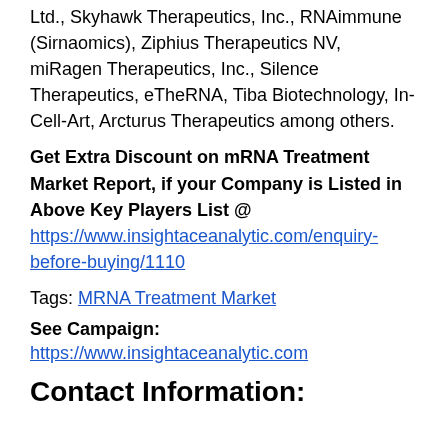Ltd., Skyhawk Therapeutics, Inc., RNAimmune (Sirnaomics), Ziphius Therapeutics NV, miRagen Therapeutics, Inc., Silence Therapeutics, eTheRNA, Tiba Biotechnology, In-Cell-Art, Arcturus Therapeutics among others.
Get Extra Discount on mRNA Treatment Market Report, if your Company is Listed in Above Key Players List @
https://www.insightaceanalytic.com/enquiry-before-buying/1110
Tags: MRNA Treatment Market
See Campaign: https://www.insightaceanalytic.com
Contact Information: